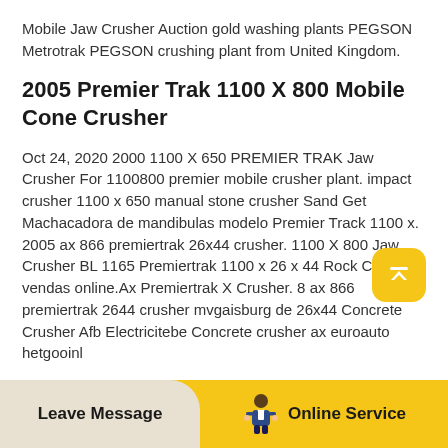Mobile Jaw Crusher Auction gold washing plants PEGSON Metrotrak PEGSON crushing plant from United Kingdom.
2005 Premier Trak 1100 X 800 Mobile Cone Crusher
Oct 24, 2020 2000 1100 X 650 PREMIER TRAK Jaw Crusher For 1100800 premier mobile crusher plant. impact crusher 1100 x 650 manual stone crusher Sand Get Machacadora de mandibulas modelo Premier Track 1100 x. 2005 ax 866 premiertrak 26x44 crusher. 1100 X 800 Jaw Crusher BL 1165 Premiertrak 1100 x 26 x 44 Rock Crusher vendas online.Ax Premiertrak X Crusher. 8 ax 866 premiertrak 2644 crusher mvgaisburg de 26x44 Concrete Crusher Afb Electricitebe Concrete crusher ax euroauto hetgooinl
[Figure (other): Scroll-to-top button icon — rounded yellow square with upward chevron]
Leave Message   Online Service